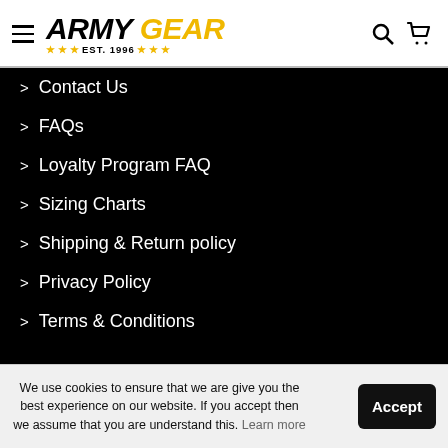Army Gear EST. 1996
Contact Us
FAQs
Loyalty Program FAQ
Sizing Charts
Shipping & Return policy
Privacy Policy
Terms & Conditions
SHOP
New Arrivals
Hats
Under Armour
We use cookies to ensure that we are give you the best experience on our website. If you accept then we assume that you are understand this. Learn more